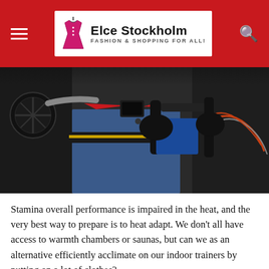Elce Stockholm — FASHION & SHOPPING FOR ALL!
[Figure (photo): Close-up photo of a person on an indoor stationary bike trainer with handlebars, gloves, and wires visible in the background.]
Stamina overall performance is impaired in the heat, and the very best way to prepare is to heat adapt. We don't all have access to warmth chambers or saunas, but can we as an alternative efficiently acclimate on our indoor trainers by putting on a lot of clothes?
Any of us who tuned into the Tokyo Olympics, or when Qatar hosted the Environment Athletics Championships in 2019 and the UCI Worlds in 2016, would be with no doubt aware that many the